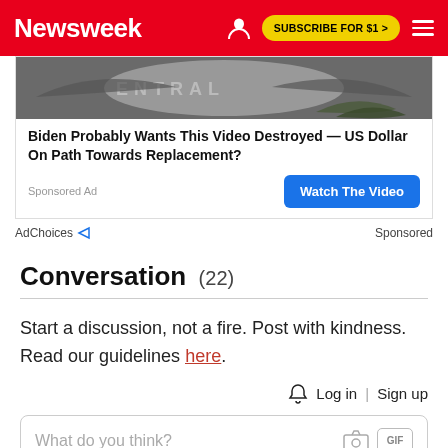Newsweek | SUBSCRIBE FOR $1 >
[Figure (screenshot): Advertisement image showing CIA-related imagery with eagle emblem, with headline: Biden Probably Wants This Video Destroyed — US Dollar On Path Towards Replacement? Sponsored Ad. Watch The Video button.]
AdChoices   Sponsored
Conversation (22)
Start a discussion, not a fire. Post with kindness. Read our guidelines here.
Log in | Sign up
What do you think?